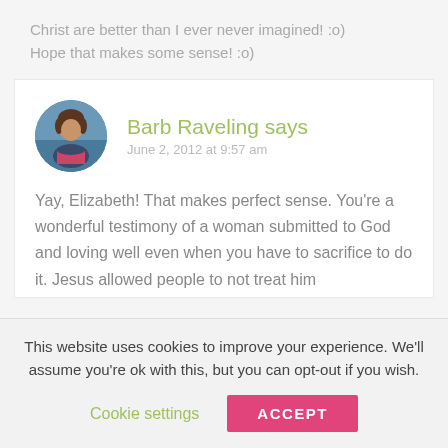Christ are better than I ever never imagined! :o)
Hope that makes some sense! :o)
Barb Raveling says
June 2, 2012 at 9:57 am
Yay, Elizabeth! That makes perfect sense. You're a wonderful testimony of a woman submitted to God and loving well even when you have to sacrifice to do it. Jesus allowed people to not treat him
This website uses cookies to improve your experience. We'll assume you're ok with this, but you can opt-out if you wish.
Cookie settings
ACCEPT